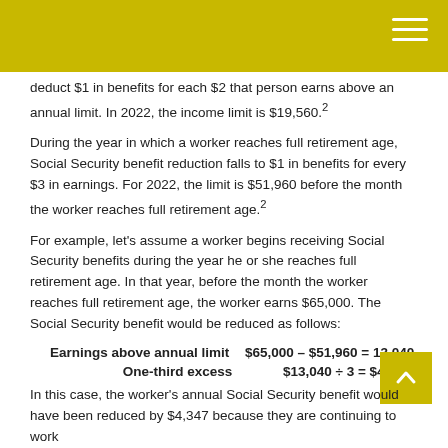deduct $1 in benefits for each $2 that person earns above an annual limit. In 2022, the income limit is $19,560.²
During the year in which a worker reaches full retirement age, Social Security benefit reduction falls to $1 in benefits for every $3 in earnings. For 2022, the limit is $51,960 before the month the worker reaches full retirement age.²
For example, let's assume a worker begins receiving Social Security benefits during the year he or she reaches full retirement age. In that year, before the month the worker reaches full retirement age, the worker earns $65,000. The Social Security benefit would be reduced as follows:
In this case, the worker's annual Social Security benefit would have been reduced by $4,347 because they are continuing to work